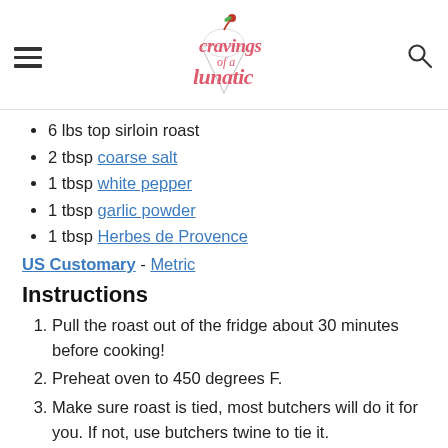Cravings of a Lunatic (logo with hamburger menu and search icon)
6 lbs top sirloin roast
2 tbsp coarse salt
1 tbsp white pepper
1 tbsp garlic powder
1 tbsp Herbes de Provence
US Customary - Metric
Instructions
Pull the roast out of the fridge about 30 minutes before cooking!
Preheat oven to 450 degrees F.
Make sure roast is tied, most butchers will do it for you. If not, use butchers twine to tie it.
Season the meat with spices, make sure you season it all over.